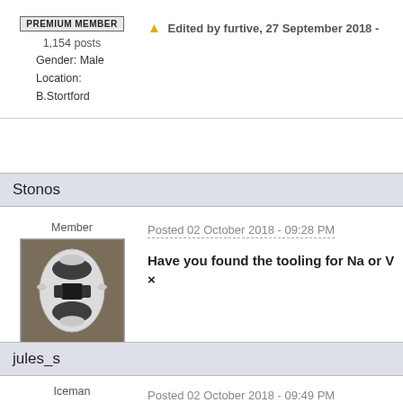PREMIUM MEMBER
1,154 posts
Gender: Male
Location: B.Stortford
Edited by furtive, 27 September 2018 -
Stonos
Member
[Figure (photo): Top-down view of a white sports car (Mazda MX-5 / similar) on a concrete floor]
18 posts
Gender: Male
Location: Sweden
Posted 02 October 2018 - 09:28 PM
Have you found the tooling for Na or VX
jules_s
Iceman
Posted 02 October 2018 - 09:49 PM